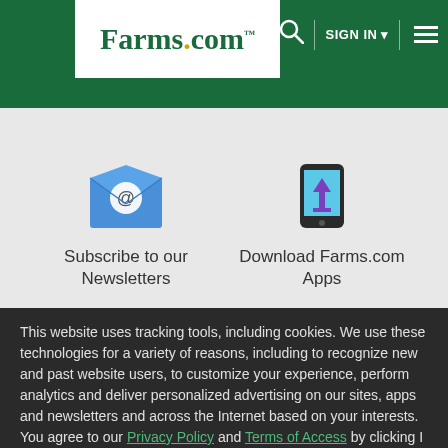Farms.com — SIGN IN
[Figure (illustration): Email envelope icon with @ symbol for Newsletter subscription]
Subscribe to our Newsletters
[Figure (illustration): Smartphone with download arrow icon for Farms.com Apps]
Download Farms.com Apps
This website uses tracking tools, including cookies. We use these technologies for a variety of reasons, including to recognize new and past website users, to customize your experience, perform analytics and deliver personalized advertising on our sites, apps and newsletters and across the Internet based on your interests. You agree to our Privacy Policy and Terms of Access by clicking I agree.
I agree
Close